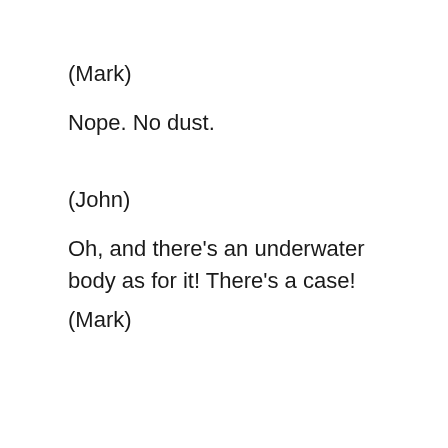(Mark)
Nope. No dust.
(John)
Oh, and there's an underwater body as for it! There's a case!
(Mark)